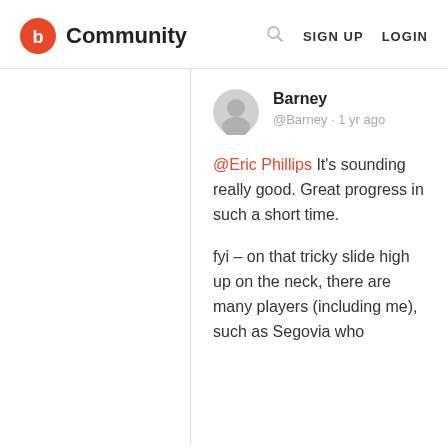b Community  SIGN UP  LOGIN
Barney @Barney · 1 yr ago
@Eric Phillips It's sounding really good.  Great progress in such a short time.

fyi – on that tricky slide high up on the neck, there are many players (including me), such as Segovia who